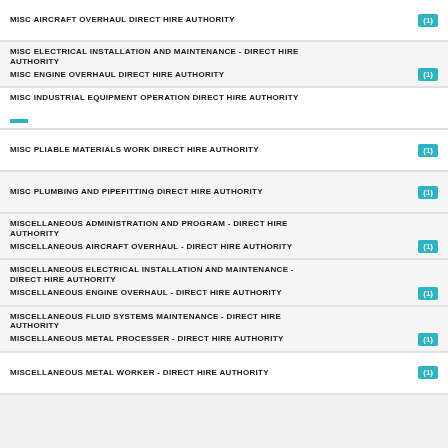MISC AIRCRAFT OVERHAUL DIRECT HIRE AUTHORITY (1)
MISC ELECTRICAL INSTALLATION AND MAINTENANCE - DIRECT HIRE AUTHORITY
MISC ENGINE OVERHAUL DIRECT HIRE AUTHORITY (1)
MISC INDUSTRIAL EQUIPMENT OPERATION DIRECT HIRE AUTHORITY
MISC PLIABLE MATERIALS WORK DIRECT HIRE AUTHORITY (1)
MISC PLUMBING AND PIPEFITTING DIRECT HIRE AUTHORITY (1)
MISCELLANEOUS ADMINISTRATION AND PROGRAM - DIRECT HIRE AUTHORITY
MISCELLANEOUS AIRCRAFT OVERHAUL - DIRECT HIRE AUTHORITY (1)
MISCELLANEOUS ELECTRICAL INSTALLATION AND MAINTENANCE - DIRECT HIRE AUTHORITY
MISCELLANEOUS ENGINE OVERHAUL - DIRECT HIRE AUTHORITY (1)
MISCELLANEOUS FLUID SYSTEMS MAINTENANCE - DIRECT HIRE AUTHORITY
MISCELLANEOUS METAL PROCESSER - DIRECT HIRE AUTHORITY (1)
MISCELLANEOUS METAL WORKER - DIRECT HIRE AUTHORITY (1)